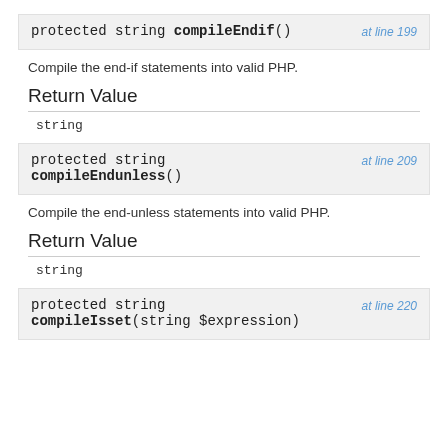protected string compileEndif()  at line 199
Compile the end-if statements into valid PHP.
Return Value
string
protected string compileEndunless()  at line 209
Compile the end-unless statements into valid PHP.
Return Value
string
protected string compileIsset(string $expression)  at line 220